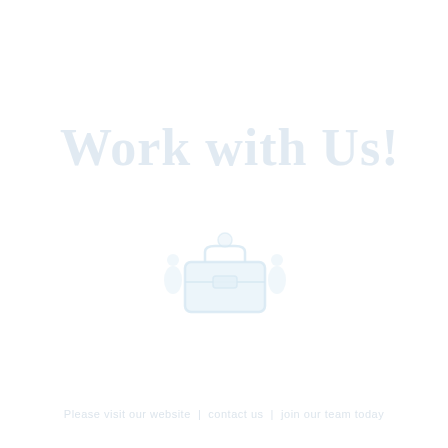Work with Us!
[Figure (illustration): A faint light blue illustration of a person or figure, centrally placed below the title text, very low opacity watermark-style image]
Page footer / tagline text at bottom of page, very faintly visible